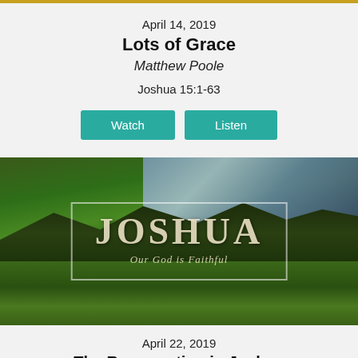April 14, 2019
Lots of Grace
Matthew Poole
Joshua 15:1-63
[Figure (illustration): Landscape photo of green rolling hills/mountains with dramatic sky, overlaid with text box reading 'JOSHUA — Our God is Faithful']
April 22, 2019
The Resurrection in Joshua